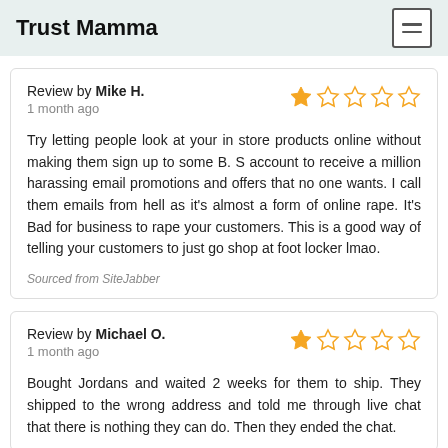Trust Mamma
Review by Mike H.
1 month ago
Try letting people look at your in store products online without making them sign up to some B. S account to receive a million harassing email promotions and offers that no one wants. I call them emails from hell as it's almost a form of online rape. It's Bad for business to rape your customers. This is a good way of telling your customers to just go shop at foot locker lmao.
Sourced from SiteJabber
Review by Michael O.
1 month ago
Bought Jordans and waited 2 weeks for them to ship. They shipped to the wrong address and told me through live chat that there is nothing they can do. Then they ended the chat.